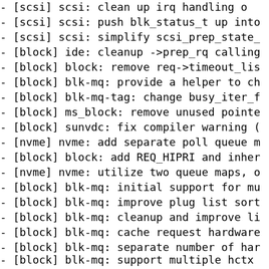- [scsi] scsi: clean up irq handling o
- [scsi] scsi: push blk_status_t up into
- [scsi] scsi: simplify scsi_prep_state_
- [block] ide: cleanup ->prep_rq calling
- [block] block: remove req->timeout_lis
- [block] blk-mq: provide a helper to ch
- [block] blk-mq-tag: change busy_iter_f
- [block] ms_block: remove unused pointe
- [block] sunvdc: fix compiler warning (
- [nvme] nvme: add separate poll queue m
- [block] block: add REQ_HIPRI and inher
- [nvme] nvme: utilize two queue maps, o
- [block] blk-mq: initial support for mu
- [block] blk-mq: improve plug list sort
- [block] blk-mq: cleanup and improve li
- [block] blk-mq: cache request hardware
- [block] blk-mq: separate number of har
- [block] blk-mq: support multiple hctx
- [block] blk-mq: add 'type' attribute t